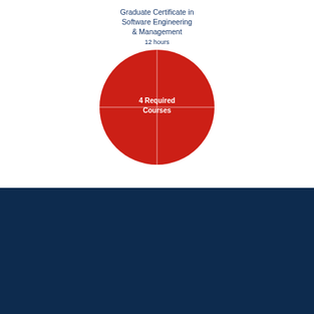[Figure (pie-chart): Graduate Certificate in Software Engineering & Management]
Why start an Information Technology Graduate Program at KU?